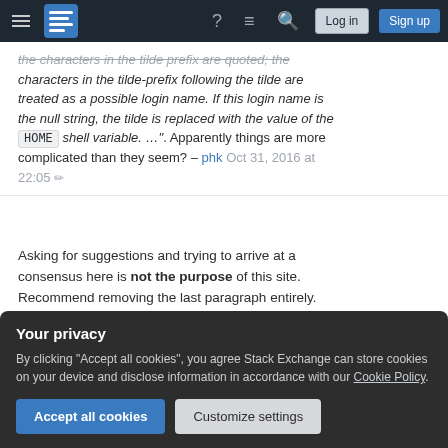Stack Exchange navigation bar with hamburger menu, logo, help, chat, search icons, Log in and Sign up buttons
the characters in the tilde-prefix are quoted; the characters in the tilde-prefix following the tilde are treated as a possible login name. If this login name is the null string, the tilde is replaced with the value of the HOME shell variable. …". Apparently things are more complicated than they seem? – phk Oct 31, 2016 at 22:05
Asking for suggestions and trying to arrive at a consensus here is not the purpose of this site. Recommend removing the last paragraph entirely. Without it, it's a more or less decent question; with it, it's blatantly subjective and opinion-based and therefore off topic. – Wildcard Nov 1, 2016 at 2:05
Your privacy
By clicking "Accept all cookies", you agree Stack Exchange can store cookies on your device and disclose information in accordance with our Cookie Policy.
Accept all cookies  Customize settings